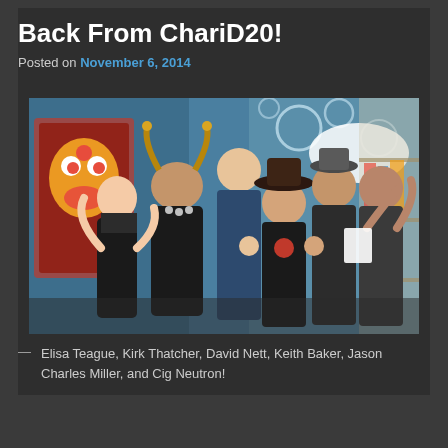Back From ChariD20!
Posted on November 6, 2014
[Figure (photo): Group photo of six people posing enthusiastically in what appears to be a comic book store. There is colorful artwork on the wall behind them including a clown and bubble motifs. People are making rock horns and excited gestures.]
— Elisa Teague, Kirk Thatcher, David Nett, Keith Baker, Jason Charles Miller, and Cig Neutron!